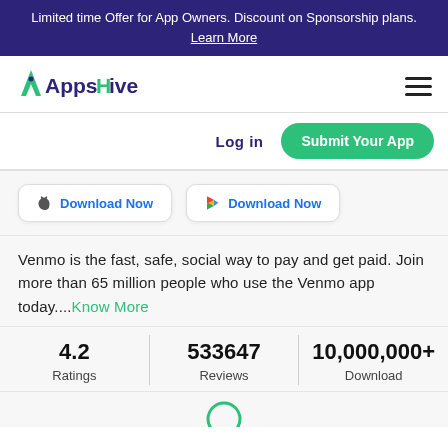Limited time Offer for App Owners. Discount on Sponsorship plans. Learn More
[Figure (logo): AppsHive logo with green A icon and dark blue text]
Log in
Submit Your App
[Figure (other): Apple App Store Download Now button]
[Figure (other): Google Play Download Now button]
Venmo is the fast, safe, social way to pay and get paid. Join more than 65 million people who use the Venmo app today....Know More
| Ratings | Reviews | Download |
| --- | --- | --- |
| 4.2 | 533647 | 10,000,000+ |